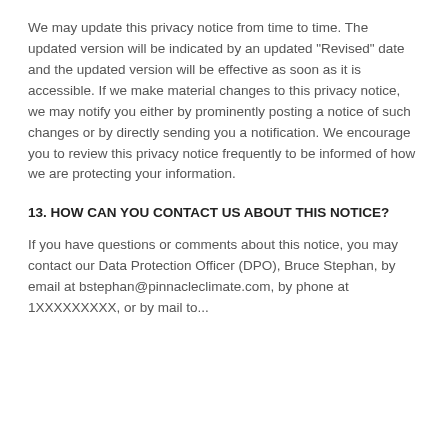We may update this privacy notice from time to time. The updated version will be indicated by an updated “Revised” date and the updated version will be effective as soon as it is accessible. If we make material changes to this privacy notice, we may notify you either by prominently posting a notice of such changes or by directly sending you a notification. We encourage you to review this privacy notice frequently to be informed of how we are protecting your information.
13. HOW CAN YOU CONTACT US ABOUT THIS NOTICE?
If you have questions or comments about this notice, you may contact our Data Protection Officer (DPO), Bruce Stephan, by email at bstephan@pinnacleclimate.com, by phone at 1XXXXXXXXX, or by mail to...